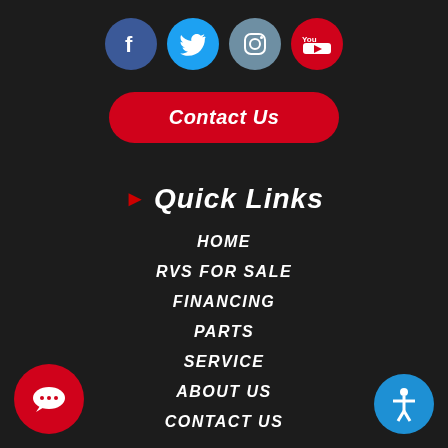[Figure (other): Social media icons row: Facebook (blue circle), Twitter (light blue circle), Instagram (steel blue circle), YouTube (red circle)]
Contact Us
Quick Links
HOME
RVS FOR SALE
FINANCING
PARTS
SERVICE
ABOUT US
CONTACT US
[Figure (illustration): Red circle chat bubble icon, bottom left]
[Figure (illustration): Blue circle accessibility icon, bottom right]